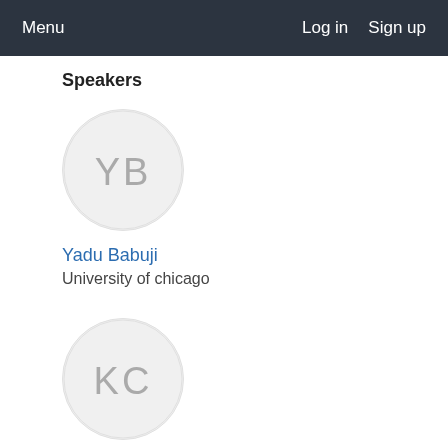Menu   Log in   Sign up
Speakers
[Figure (illustration): Circular avatar placeholder with initials YB in light gray on white background]
Yadu Babuji
University of chicago
[Figure (illustration): Circular avatar placeholder with initials KC in light gray on white background]
Kyle Chard